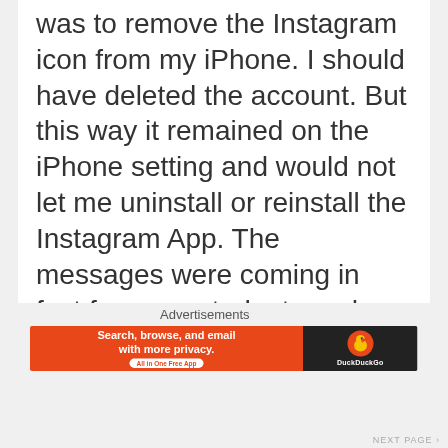was to remove the Instagram icon from my iPhone. I should have deleted the account. But this way it remained on the iPhone setting and would not let me uninstall or reinstall the Instagram App. The messages were coming in fast from my students and friends. One said that Instagram had an email account and I could report the hack. But I could not find any email id. After clicking around for some time on the Instagram site, an email was generated from Instagram which said that someone had logged into my
Advertisements
[Figure (infographic): DuckDuckGo advertisement banner: orange left section with white text 'Search, browse, and email with more privacy. All in One Free App' and dark right section with DuckDuckGo logo and name.]